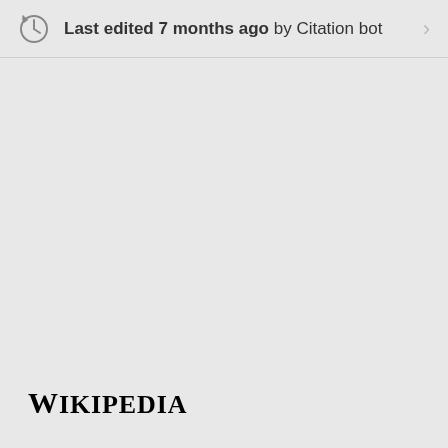Last edited 7 months ago by Citation bot
WIKIPEDIA